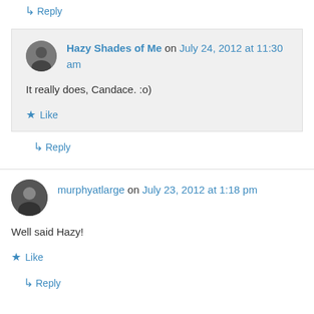↳ Reply
Hazy Shades of Me on July 24, 2012 at 11:30 am
It really does, Candace. :o)
★ Like
↳ Reply
murphyatlarge on July 23, 2012 at 1:18 pm
Well said Hazy!
★ Like
↳ Reply